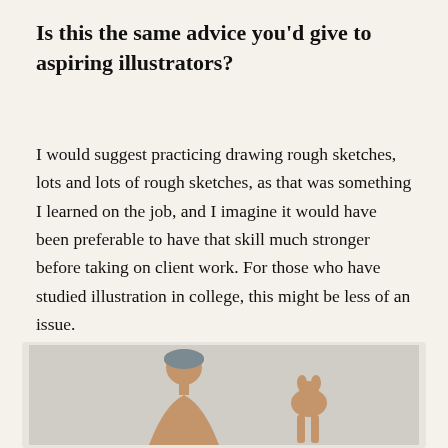Is this the same advice you'd give to aspiring illustrators?
I would suggest practicing drawing rough sketches, lots and lots of rough sketches, as that was something I learned on the job, and I imagine it would have been preferable to have that skill much stronger before taking on client work. For those who have studied illustration in college, this might be less of an issue.
[Figure (photo): A photo showing two people, one wearing a grey head wrap on the left and another smaller figure on the right, against a light grey background.]